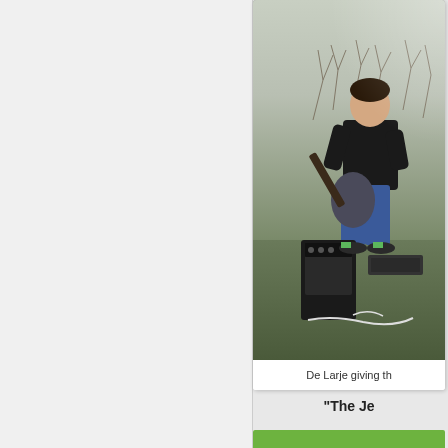[Figure (photo): A young person playing an electric guitar outdoors on grass, with a black guitar amplifier beside them. Background shows bare trees/shrubs. The person wears a black t-shirt and blue jeans.]
De Larje giving th...
"The Je...
[Figure (photo): Partial green image visible at the bottom of the page (cropped).]